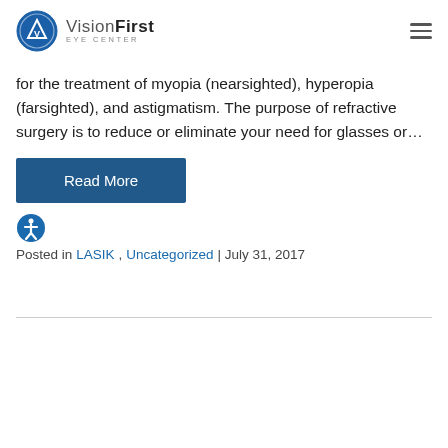VisionFirst Eye Center
for the treatment of myopia (nearsighted), hyperopia (farsighted), and astigmatism. The purpose of refractive surgery is to reduce or eliminate your need for glasses or…
Read More
Posted in LASIK, Uncategorized | July 31, 2017